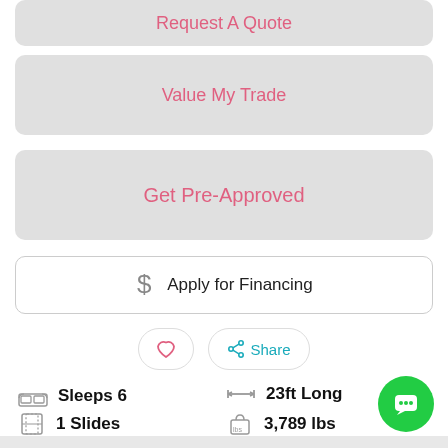Request A Quote
Value My Trade
Get Pre-Approved
$ Apply for Financing
♡  Share
Sleeps 6
23ft Long
1 Slides
3,789 lbs
Bunkhouse